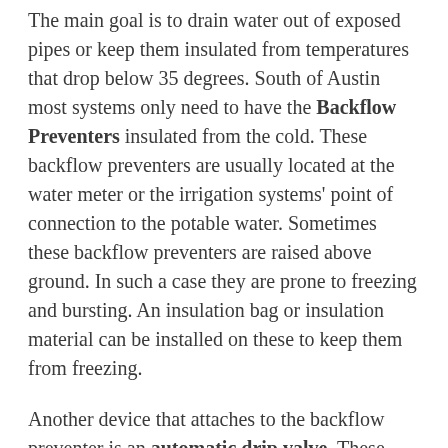The main goal is to drain water out of exposed pipes or keep them insulated from temperatures that drop below 35 degrees. South of Austin most systems only need to have the Backflow Preventers insulated from the cold. These backflow preventers are usually located at the water meter or the irrigation systems' point of connection to the potable water. Sometimes these backflow preventers are raised above ground. In such a case they are prone to freezing and bursting. An insulation bag or insulation material can be installed on these to keep them from freezing.
Another device that attaches to the backflow preventer is an automatic drip valve. These drip valves open automatically when the temperature drops below 35 degrees and creates a small steady stream of water that keeps the water moving through the valves preventing the water to drop below freezing. Used in